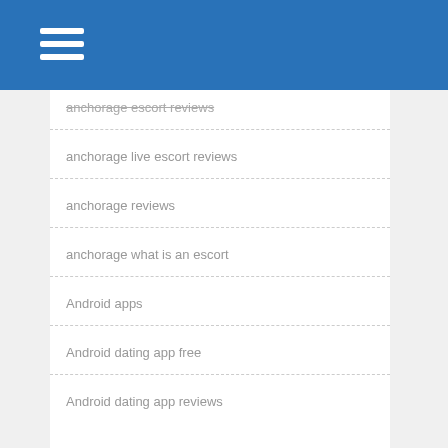anchorage escort reviews
anchorage live escort reviews
anchorage reviews
anchorage what is an escort
Android apps
Android dating app free
Android dating app reviews